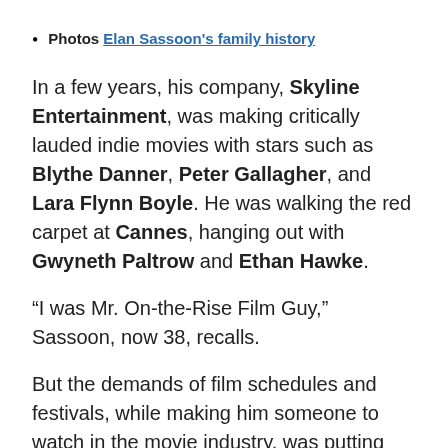Photos Elan Sassoon's family history
In a few years, his company, Skyline Entertainment, was making critically lauded indie movies with stars such as Blythe Danner, Peter Gallagher, and Lara Flynn Boyle. He was walking the red carpet at Cannes, hanging out with Gwyneth Paltrow and Ethan Hawke.
“I was Mr. On-the-Rise Film Guy,” Sassoon, now 38, recalls.
But the demands of film schedules and festivals, while making him someone to watch in the movie industry, was putting stress on his marriage. He had to make a